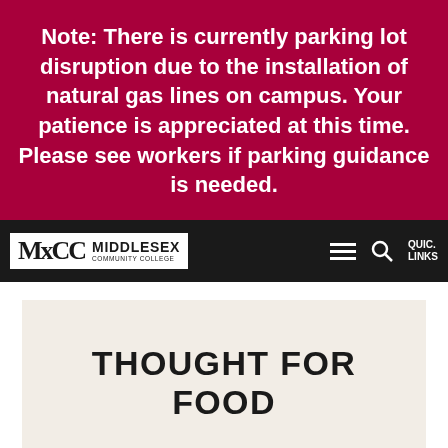Note: There is currently parking lot disruption due to the installation of natural gas lines on campus. Your patience is appreciated at this time. Please see workers if parking guidance is needed.
[Figure (logo): Middlesex Community College logo and navigation bar with hamburger menu, search icon, and Quick Links label]
THOUGHT FOR FOOD